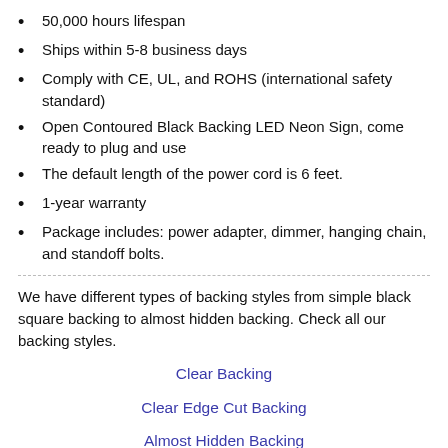50,000 hours lifespan
Ships within 5-8 business days
Comply with CE, UL, and ROHS (international safety standard)
Open Contoured Black Backing LED Neon Sign, come ready to plug and use
The default length of the power cord is 6 feet.
1-year warranty
Package includes: power adapter, dimmer, hanging chain, and standoff bolts.
We have different types of backing styles from simple black square backing to almost hidden backing. Check all our backing styles.
Clear Backing
Clear Edge Cut Backing
Almost Hidden Backing
Black Backing